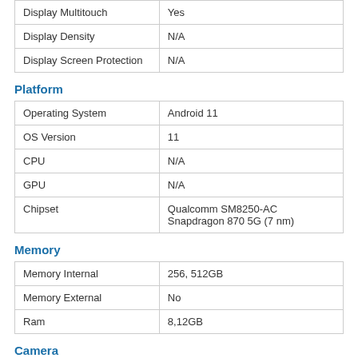| Display Multitouch | Yes |
| Display Density | N/A |
| Display Screen Protection | N/A |
Platform
| Operating System | Android 11 |
| OS Version | 11 |
| CPU | N/A |
| GPU | N/A |
| Chipset | Qualcomm SM8250-AC Snapdragon 870 5G (7 nm) |
Memory
| Memory Internal | 256, 512GB |
| Memory External | No |
| Ram | 8,12GB |
Camera